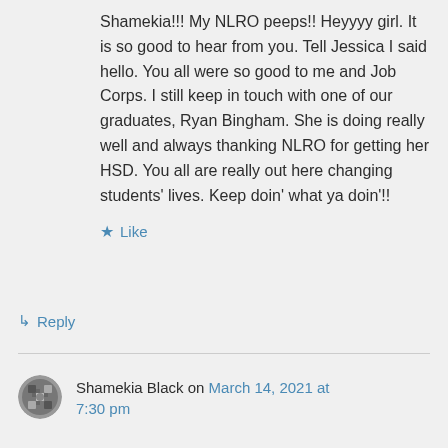Shamekia!!! My NLRO peeps!! Heyyyy girl. It is so good to hear from you. Tell Jessica I said hello. You all were so good to me and Job Corps. I still keep in touch with one of our graduates, Ryan Bingham. She is doing really well and always thanking NLRO for getting her HSD. You all are really out here changing students' lives. Keep doin' what ya doin'!!
★ Like
↳ Reply
Shamekia Black on March 14, 2021 at 7:30 pm